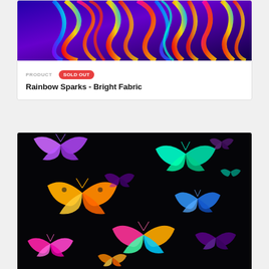[Figure (photo): Colorful rainbow swirling fur/hair fabric pattern with vivid neon colors on dark background]
PRODUCT   SOLD OUT
Rainbow Sparks - Bright Fabric
[Figure (photo): Colorful neon butterflies on black background fabric pattern]